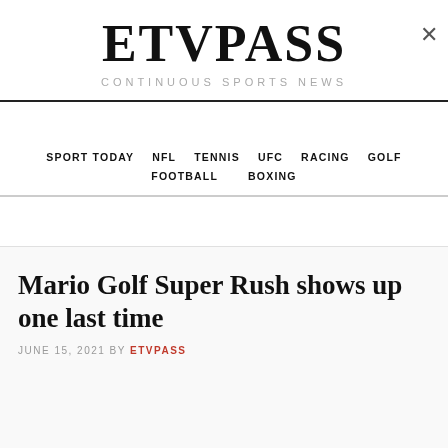ETVPASS
CONTINUOUS SPORTS NEWS
SPORT TODAY | NFL | TENNIS | UFC | RACING | GOLF | FOOTBALL | BOXING
Mario Golf Super Rush shows up one last time
JUNE 15, 2021 BY ETVPASS